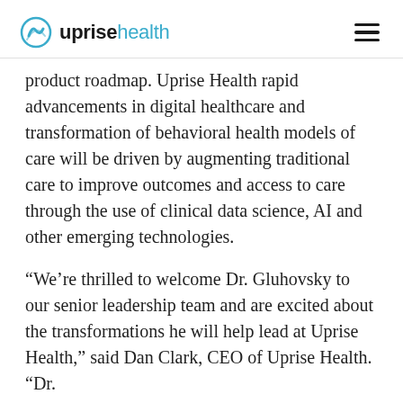uprise health
product roadmap. Uprise Health rapid advancements in digital healthcare and transformation of behavioral health models of care will be driven by augmenting traditional care to improve outcomes and access to care through the use of clinical data science, AI and other emerging technologies.
“We’re thrilled to welcome Dr. Gluhovsky to our senior leadership team and are excited about the transformations he will help lead at Uprise Health,” said Dan Clark, CEO of Uprise Health. “Dr.